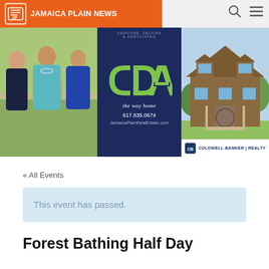[Figure (logo): Jamaica Plain News logo — orange rectangle background with white JP newspaper icon and white uppercase text 'JAMAICA PLAIN NEWS'. Search and hamburger menu icons top right.]
[Figure (photo): Banner advertisement for Cervone, DeLoan & Associates real estate. Left: photo of three real estate agents (two women, one man) outdoors. Center: dark navy blue panel with green CDA logo, tagline 'the way home', phone 617.835.0674, JamaicaPlainRealEstate.com. Right: photo of a large brown-shingle house. Bottom right: Coldwell Banker Realty logo.]
« All Events
This event has passed.
Forest Bathing Half Day